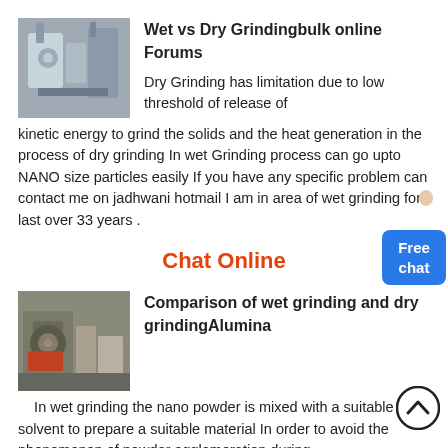[Figure (photo): Industrial grinding mill equipment, silver/grey machinery]
Wet vs Dry Grindingbulk online Forums
Dry Grinding has limitation due to low threshold of release of kinetic energy to grind the solids and the heat generation in the process of dry grinding In wet Grinding process can go upto NANO size particles easily If you have any specific problem can contact me on jadhwani hotmail I am in area of wet grinding for last over 33 years .
Chat Online
[Figure (photo): Industrial grinding mill, large grey/red machine in factory setting]
Comparison of wet grinding and dry grindingAlumina
In wet grinding the nano powder is mixed with a suitable solvent to prepare a suitable material In order to avoid the phenomenon of powder agglomeration during